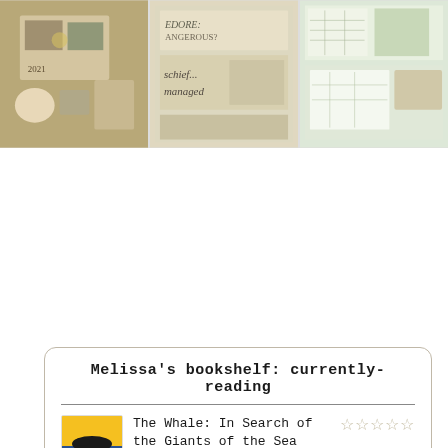[Figure (photo): Three-panel photo grid showing scrapbook/junk journal spreads. Left: vintage journal with '2021' text, photos, and decorative elements. Center: newspaper clippings with 'mischief managed' text visible. Right: map pages and travel ephemera in a flatlay arrangement.]
Melissa's bookshelf: currently-reading
[Figure (illustration): Book cover of 'The Whale' showing an orca whale silhouette on yellow/blue background]
The Whale: In Search of the Giants of the Sea by Philip Hoare
tagged currently-reading, animal-behavior, and non-fiction
[Figure (illustration): Book cover of 'The Green Witch' with dark green botanical background]
The Green Witch: Your Complete Guide to the Natural Magic of Herbs, Flowers, Essential...